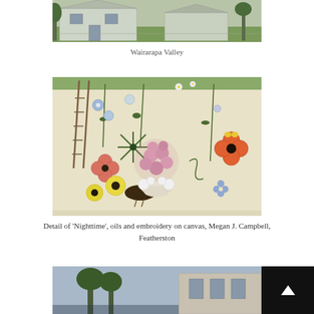[Figure (photo): Partial view of a rural house with white siding, green lawn, and trees in Wairarapa Valley]
Wairarapa Valley
[Figure (photo): Detail of 'Nighttime', oils and embroidery on canvas artwork showing colorful flowers, leaves, a bird, and decorative botanical elements on cream background, by Megan J. Campbell, Featherston]
Detail of ‘Nighttime’, oils and embroidery on canvas, Megan J. Campbell, Featherston
[Figure (photo): Partial view of a building or landscape scene, cropped at bottom of page]